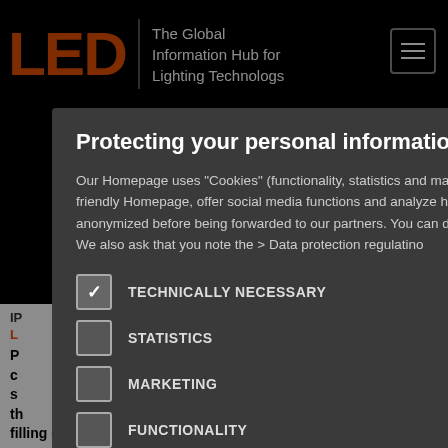[Figure (screenshot): LED professional website header with orange LED logo, tagline 'The Global Information Hub for Lighting Technologies', hamburger menu icon, brownish hero banner with 'NOW A' and 'WEB' text, and partially visible article content about LED chip package at the bottom]
Protecting your personal information is important to us
Our Homepage uses "Cookies" (functionality, statistics and marketing cookies) in order to create a user friendly Homepage, offer social media functions and analyze hits. When necessary, information is anonymized before being forwarded to our partners. You can decide which cookies you want to allow. We also ask that you note the > Data protection regulatino
TECHNICALLY NECESSARY
STATISTICS
MARKETING
FUNCTIONALITY